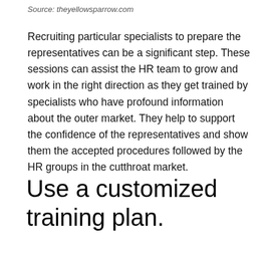Source: theyellowsparrow.com
Recruiting particular specialists to prepare the representatives can be a significant step. These sessions can assist the HR team to grow and work in the right direction as they get trained by specialists who have profound information about the outer market. They help to support the confidence of the representatives and show them the accepted procedures followed by the HR groups in the cutthroat market.
Use a customized training plan.